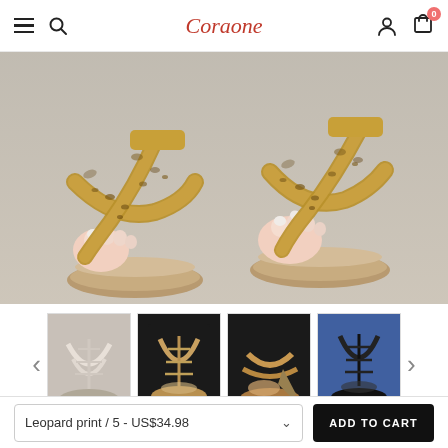Coraone
[Figure (photo): Close-up photo of a woman's feet wearing leopard print strappy wedge sandals on a concrete surface]
[Figure (photo): Four thumbnail images of different shoe styles: white lace-up sandals, tan lace-up sandals, tan wedge sandals, black lace-up sandals]
Corashoes Classic Roman Suede Leather
Leopard print / 5 - US$34.98
ADD TO CART